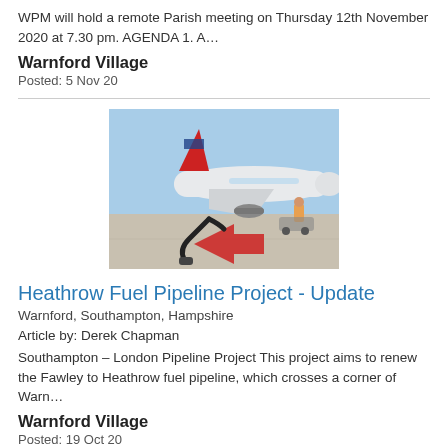WPM will hold a remote Parish meeting on Thursday 12th November 2020 at 7.30 pm. AGENDA 1. A…
Warnford Village
Posted: 5 Nov 20
[Figure (photo): Airplane on tarmac with fuel pipeline hose connected at the front, a red arrow marking on the ground, workers in background]
Heathrow Fuel Pipeline Project - Update
Warnford, Southampton, Hampshire
Article by: Derek Chapman
Southampton – London Pipeline Project This project aims to renew the Fawley to Heathrow fuel pipeline, which crosses a corner of Warn…
Warnford Village
Posted: 19 Oct 20